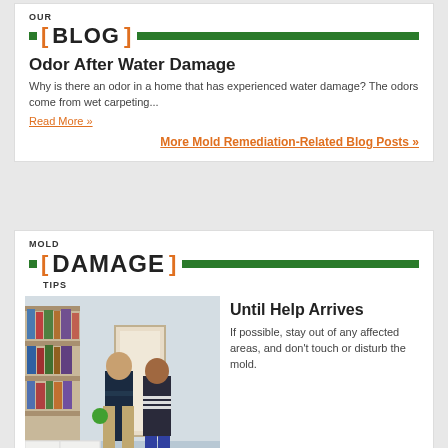OUR BLOG
Odor After Water Damage
Why is there an odor in a home that has experienced water damage? The odors come from wet carpeting...
Read More »
More Mold Remediation-Related Blog Posts »
MOLD DAMAGE TIPS
[Figure (photo): Two people — a man in a dark uniform and a woman in casual attire — standing in a living room, appearing to discuss something. Bookshelves visible in background.]
Until Help Arrives
If possible, stay out of any affected areas, and don't touch or disturb the mold.